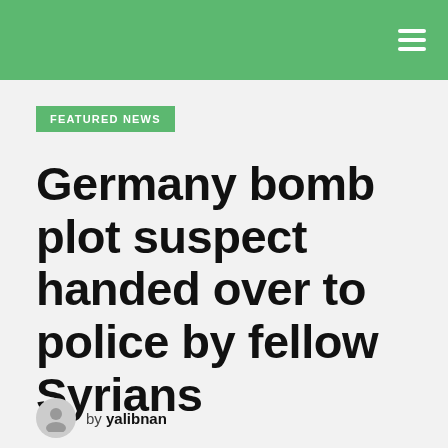FEATURED NEWS
Germany bomb plot suspect handed over to police by fellow Syrians
by yalibnan